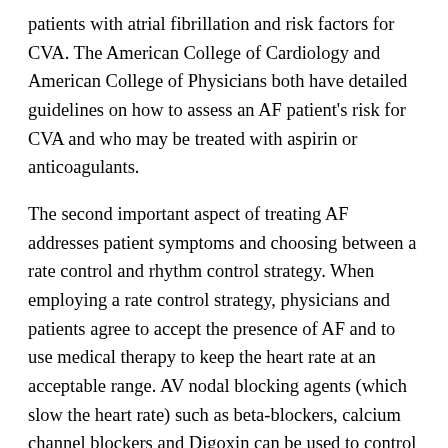patients with atrial fibrillation and risk factors for CVA. The American College of Cardiology and American College of Physicians both have detailed guidelines on how to assess an AF patient's risk for CVA and who may be treated with aspirin or anticoagulants.
The second important aspect of treating AF addresses patient symptoms and choosing between a rate control and rhythm control strategy. When employing a rate control strategy, physicians and patients agree to accept the presence of AF and to use medical therapy to keep the heart rate at an acceptable range. AV nodal blocking agents (which slow the heart rate) such as beta-blockers, calcium channel blockers and Digoxin can be used to control a patient's heart rate and symptoms. The rhythm control strategy is generally used for patients who have symptoms from atrial fibrillation despite adequate rate control or whose heart rate cannot be controlled with AV nodal blocking agents. In the rhythm control strategy, medications and ablation therapy are used to restore and maintain sinus